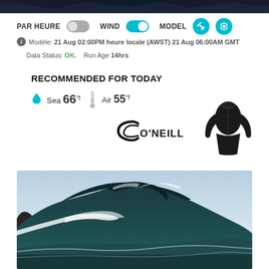[Figure (screenshot): Dark top banner with wave/surf background pattern]
PAR HEURE [toggle off] WIND [toggle on] MODEL [wrench icon] [gear icon]
ⓘ Modèle: 21 Aug 02:00PM heure locale (AWST) 21 Aug 06:00AM GMT
Data Status: OK.   Run Age 14hrs
RECOMMENDED FOR TODAY
Sea 66 °f   Air 55°f
[Figure (logo): O'Neill brand logo with cursive C and ONEILL text]
[Figure (photo): Black O'Neill long sleeve rashguard/wetsuit top]
[Figure (photo): Ocean wave photo showing a large dark green/teal wave curling with white foam and light blue sky]